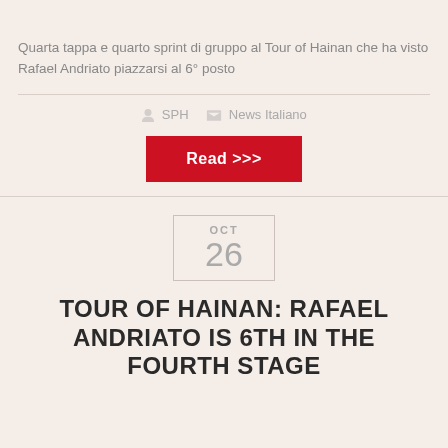Quarta tappa e quarto sprint di gruppo al Tour of Hainan che ha visto Rafael Andriato piazzarsi al 6° posto
SPH  News Italiano
Read >>>
OCT 26
TOUR OF HAINAN: RAFAEL ANDRIATO IS 6TH IN THE FOURTH STAGE